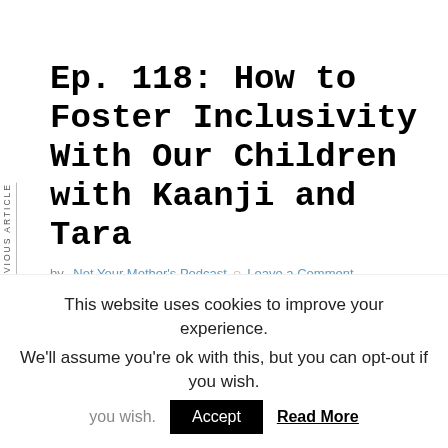PREVIOUS ARTICLE
NEXT ARTICLE
Ep. 118: How to Foster Inclusivity With Our Children with Kaanji and Tara
by Not Your Mother's Podcast   Leave a Comment
[Figure (photo): Black video embed placeholder rectangle]
This website uses cookies to improve your experience. We'll assume you're ok with this, but you can opt-out if you wish.
Accept   Read More